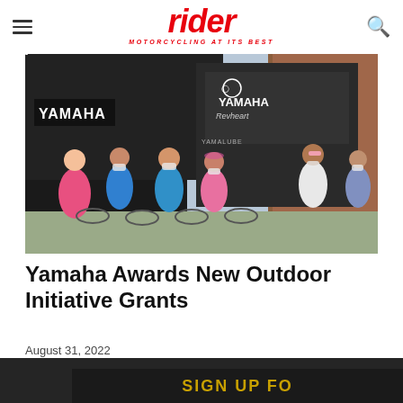rider — MOTORCYCLING AT ITS BEST
[Figure (photo): Children wearing face masks riding bicycles in front of Yamaha branded vehicles near a brick building]
Yamaha Awards New Outdoor Initiative Grants
August 31, 2022
Privacy Preferences
I Agree
Sign Up Fo...